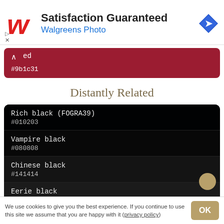[Figure (screenshot): Walgreens Photo advertisement banner with stylized W logo, text 'Satisfaction Guaranteed' and 'Walgreens Photo', and a blue diamond navigation icon]
[Figure (screenshot): Partially visible crimson/dark red color swatch with upward arrow, label 'ed' (truncated), and hex code #9b1c31]
Distantly Related
| Color name | Hex |
| --- | --- |
| Rich black (FOGRA39) | #010203 |
| Vampire black | #080808 |
| Chinese black | #141414 |
| Eerie black | #1b1b1b |
We use cookies to give you the best experience. If you continue to use this site we assume that you are happy with it (privacy policy)